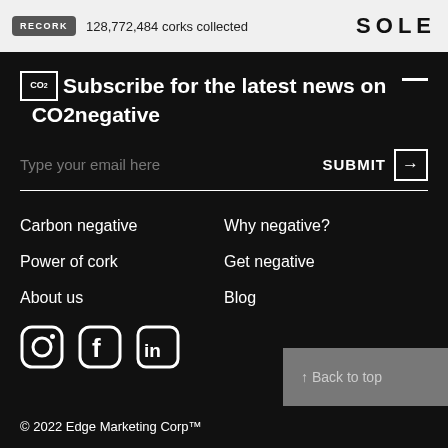RECORK  128,772,484 corks collected  SOLE
Subscribe for the latest news on CO2negative
Type your email here  SUBMIT
Carbon negative
Why negative?
Power of cork
Get negative
About us
Blog
[Figure (logo): Instagram, Facebook, LinkedIn social media icons]
↑ Back to top
© 2022 Edge Marketing Corp™